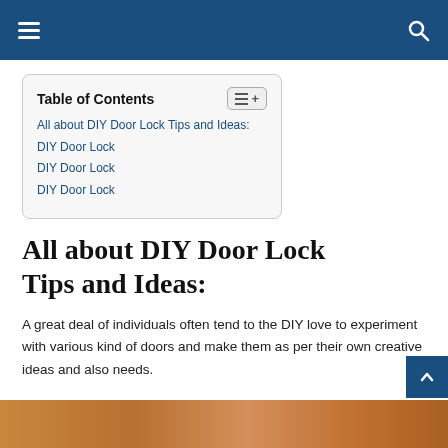Navigation header with hamburger menu and search icon
| Table of Contents |
| --- |
| All about DIY Door Lock Tips and Ideas: |
| DIY Door Lock |
| DIY Door Lock |
| DIY Door Lock |
All about DIY Door Lock Tips and Ideas:
A great deal of individuals often tend to the DIY love to experiment with various kind of doors and make them as per their own creative ideas and also needs.
[Figure (photo): Wood/door texture image at the bottom of the page]